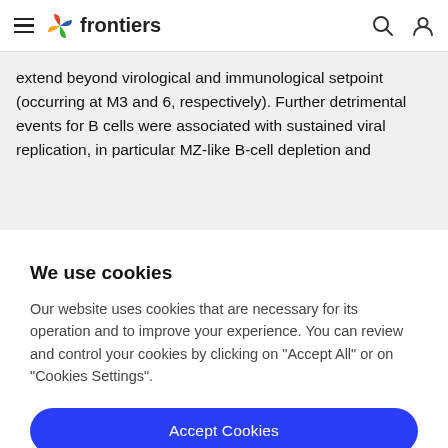frontiers
extend beyond virological and immunological setpoint (occurring at M3 and 6, respectively). Further detrimental events for B cells were associated with sustained viral replication, in particular MZ-like B-cell depletion and
We use cookies
Our website uses cookies that are necessary for its operation and to improve your experience. You can review and control your cookies by clicking on "Accept All" or on "Cookies Settings".
Accept Cookies
Cookies Settings